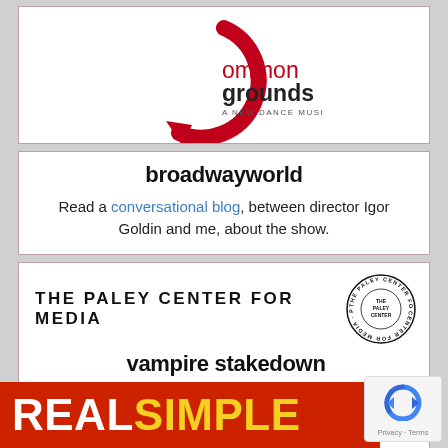[Figure (logo): Common Grounds - A New Dance Musical logo with red circular arrow and text]
broadwayworld
Read a conversational blog, between director Igor Goldin and me, about the show.
[Figure (logo): The Paley Center for Media logo with circular badge]
vampire stakedown
In November, 2009, I participated in the Paley Center's "Vampire Stakedown" Event. Here's the recap.
[Figure (logo): Real Simple magazine logo - red background with white and yellow text]
[Figure (other): reCAPTCHA widget with Privacy and Terms links]